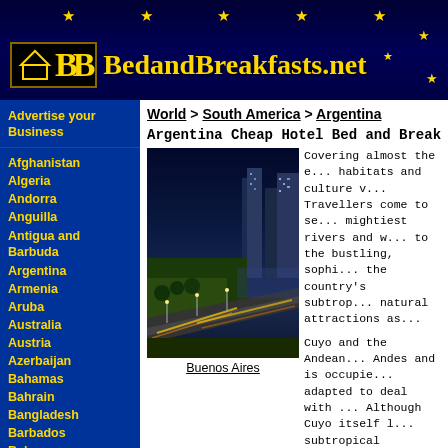[Figure (logo): BedandBreakfasts.net logo with yellow BB letters on black background, site name in gold, stars on dark blue background]
Advertise your Business
Afghanistan
Algeria
Andorra
Anguilla
Antigua and Barbuda
Argentina
Armenia
Aruba
Australia
Austria
Azerbaijan
Bahamas
Bahrain
Bangladesh
Barbados
Belarus
World > South America > Argentina
Argentina Cheap Hotel Bed and Breakfa...
[Figure (photo): Buenos Aires city at night with illuminated highway and skyscrapers]
Buenos Aires
Covering almost the e... habitats and culture v... Travellers come to se... mightiest rivers and w... to the bustling, sophi... the country's subtrop... natural attractions as...
Cuyo and the Andean... Andes and is occupie... adapted to deal with ... Although Cuyo itself l... subtropical lowlands...
Mesopotamia and the... the summer months, a... of the country. The no... enclosed by Brazil and Paraguay, is cover... Iguazu Falls.